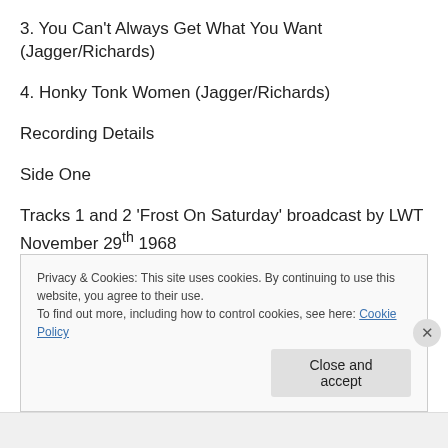3. You Can't Always Get What You Want (Jagger/Richards)
4. Honky Tonk Women (Jagger/Richards)
Recording Details
Side One
Tracks 1 and 2 'Frost On Saturday' broadcast by LWT November 29th 1968
Privacy & Cookies: This site uses cookies. By continuing to use this website, you agree to their use.
To find out more, including how to control cookies, see here: Cookie Policy
Close and accept